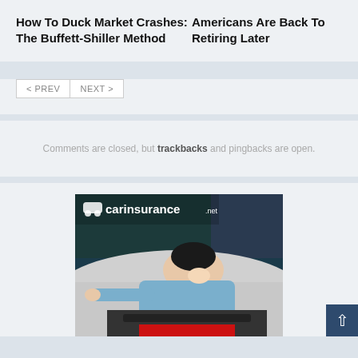How To Duck Market Crashes: The Buffett-Shiller Method
Americans Are Back To Retiring Later
< PREV   NEXT >
Comments are closed, but trackbacks and pingbacks are open.
[Figure (photo): Car insurance advertisement showing a woman smiling and leaning on a car hood, with carinsurance.net logo at top left]